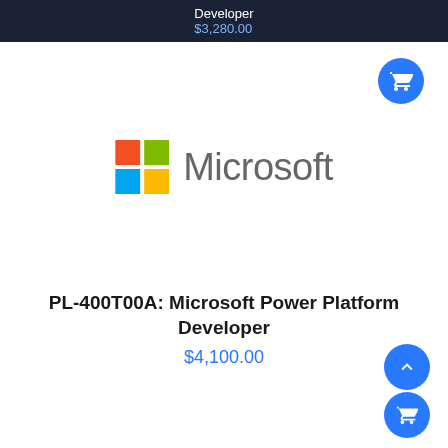Developer $3,280.00
[Figure (logo): Microsoft logo with four-color grid and Microsoft wordmark in gray]
PL-400T00A: Microsoft Power Platform Developer
$4,100.00